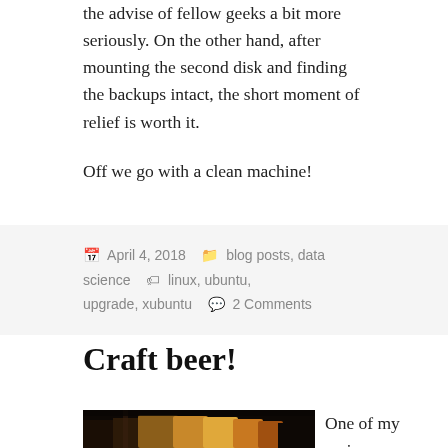the advise of fellow geeks a bit more seriously. On the other hand, after mounting the second disk and finding the backups intact, the short moment of relief is worth it.
Off we go with a clean machine!
April 4, 2018   blog posts, data science   linux, ubuntu, upgrade, xubuntu   2 Comments
Craft beer!
[Figure (photo): Photo of multiple glasses of beer on a table, backlit by a window]
One of my major